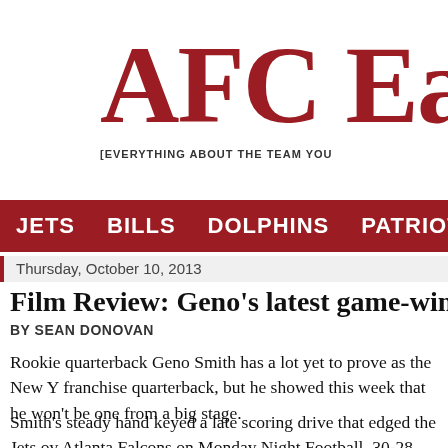AFC Ea [EVERYTHING ABOUT THE TEAM YOU]
JETS | BILLS | DOLPHINS | PATRIOTS | TW
Thursday, October 10, 2013
Film Review: Geno's latest game-winning driv
BY SEAN DONOVAN
Rookie quarterback Geno Smith has a lot yet to prove as the New Y franchise quarterback, but he showed this week that he won't be one from a big stage.
Smith's steady hand keyed a late scoring drive that edged the Jets ov Atlanta Falcons on Monday Night Football, 30-28. After the game, s described what was going through his head as he took over with less